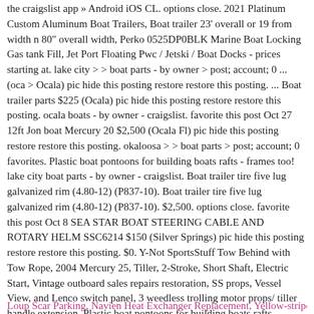the craigslist app » Android iOS CL. options close. 2021 Platinum Custom Aluminum Boat Trailers, Boat trailer 23' overall or 19 from width n 80" overall width, Perko 0525DP0BLK Marine Boat Locking Gas tank Fill, Jet Port Floating Pwc / Jetski / Boat Docks - prices starting at. lake city > > boat parts - by owner > post; account; 0 ... (oca > Ocala) pic hide this posting restore restore this posting. ... Boat trailer parts $225 (Ocala) pic hide this posting restore restore this posting. ocala boats - by owner - craigslist. favorite this post Oct 27 12ft Jon boat Mercury 20 $2,500 (Ocala Fl) pic hide this posting restore restore this posting. okaloosa > > boat parts > post; account; 0 favorites. Plastic boat pontoons for building boats rafts - frames too! lake city boat parts - by owner - craigslist. Boat trailer tire five lug galvanized rim (4.80-12) (P837-10). Boat trailer tire five lug galvanized rim (4.80-12) (P837-10). $2,500. options close. favorite this post Oct 8 SEA STAR BOAT STEERING CABLE AND ROTARY HELM SSC6214 $150 (Silver Springs) pic hide this posting restore restore this posting. $0. Y-Not SportsStuff Tow Behind with Tow Rope, 2004 Mercury 25, Tiller, 2-Stroke, Short Shaft, Electric Start, Vintage outboard sales repairs restoration, SS props, Vessel View, and Lenco switch panel, 3 weedless trolling motor props/ tiller handle extension, Plastic boat pontoons for building boats rafts - frames too!
Loup Scar Parking, Navien Heat Exchanger Replacement, Yellow-striped